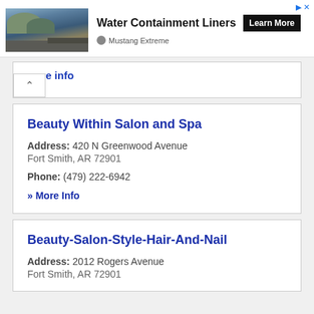[Figure (screenshot): Advertisement banner for Water Containment Liners by Mustang Extreme, showing a photo of a lined containment area with a 'Learn More' button]
more info
Beauty Within Salon and Spa
Address: 420 N Greenwood Avenue Fort Smith, AR 72901
Phone: (479) 222-6942
» More Info
Beauty-Salon-Style-Hair-And-Nail
Address: 2012 Rogers Avenue Fort Smith, AR 72901